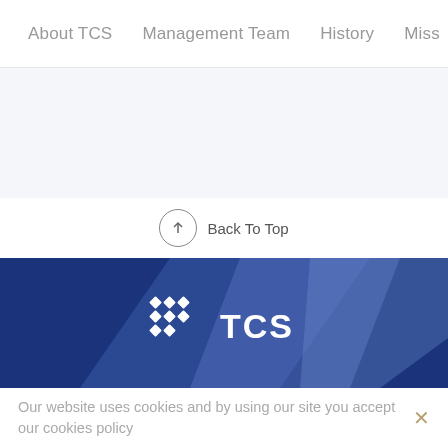About TCS   Management Team   History   Miss
[Figure (screenshot): TCS website screenshot showing navigation bar with About TCS, Management Team, History, Miss (truncated) items, a Back To Top button with up-arrow circle icon, a dark blue geometric banner with TCS logo and icon, and a cookie consent notice bar at the bottom.]
Back To Top
Our website uses cookies and by using our site you accept our cookies policy